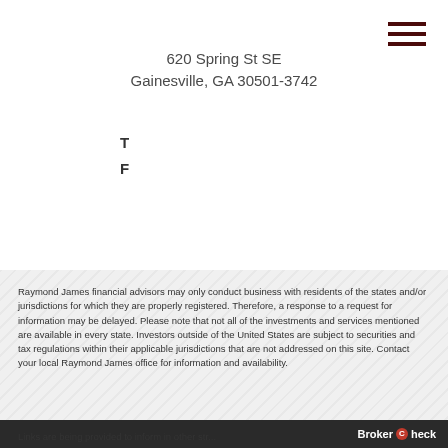620 Spring St SE
Gainesville, GA 30501-3742
T
F
Raymond James financial advisors may only conduct business with residents of the states and/or jurisdictions for which they are properly registered. Therefore, a response to a request for information may be delayed. Please note that not all of the investments and services mentioned are available in every state. Investors outside of the United States are subject to securities and tax regulations within their applicable jurisdictions that are not addressed on this site. Contact your local Raymond James office for information and availability.
BrokerCheck
Links are being provided to inform in other strength...